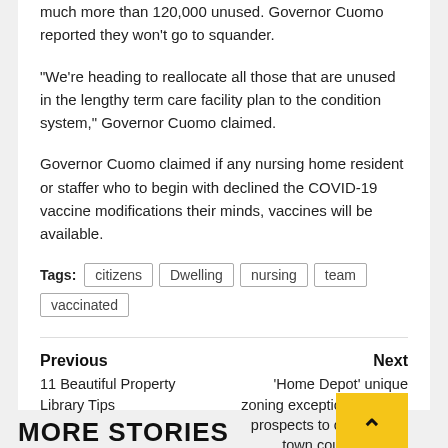much more than 120,000 unused. Governor Cuomo reported they won't go to squander.
“We’re heading to reallocate all those that are unused in the lengthy term care facility plan to the condition system,” Governor Cuomo claimed.
Governor Cuomo claimed if any nursing home resident or staffer who to begin with declined the COVID-19 vaccine modifications their minds, vaccines will be available.
Tags: citizens  Dwelling  nursing  team  vaccinated
Previous
11 Beautiful Property Library Tips
Next
‘Home Depot’ unique zoning exception qualified prospects to contentious town council listenir
MORE STORIES